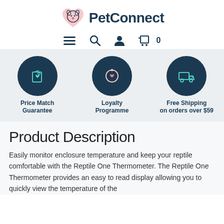[Figure (logo): PetConnect logo with pink heart containing a dog face and dark navy 'PetConnect' text]
[Figure (infographic): Navigation icons: hamburger menu, search magnifier, user profile, shopping cart with 0]
[Figure (infographic): Three circular dark navy icons: Price Match Guarantee (price tag with heart), Loyalty Programme (circular arrows with heart), Free Shipping on orders over $59 (delivery truck)]
Product Description
Easily monitor enclosure temperature and keep your reptile comfortable with the Reptile One Thermometer. The Reptile One Thermometer provides an easy to read display allowing you to quickly view the temperature of the